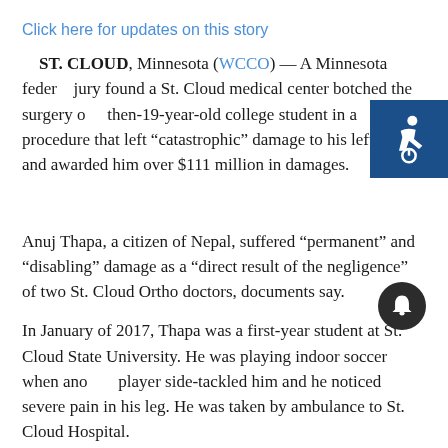Click here for updates on this story
ST. CLOUD, Minnesota (WCCO) — A Minnesota federal jury found a St. Cloud medical center botched the surgery of a then-19-year-old college student in a procedure that left "catastrophic" damage to his left leg, and awarded him over $111 million in damages.
Anuj Thapa, a citizen of Nepal, suffered "permanent" and "disabling" damage as a "direct result of the negligence" of two St. Cloud Ortho doctors, documents say.
In January of 2017, Thapa was a first-year student at St. Cloud State University. He was playing indoor soccer when another player side-tackled him and he noticed severe pain in his leg. He was taken by ambulance to St. Cloud Hospital.